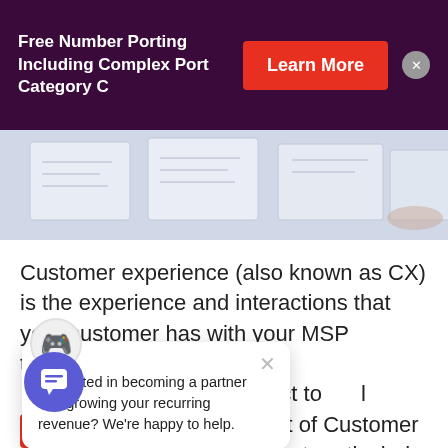Free Number Porting Including Complex Port Category C
[Figure (photo): Photo of paper documents/plans on a table, viewed from above, monochrome blue-gray tones]
Customer experience (also known as CX) is the experience and interactions that your customer has with your MSP throughout their entire [relationship, from first contact to becoming a loyal customer. Customer experience is a part of Customer Success critical for all businesses but particularly for MSPs given the ongoing business […]
Interested in becoming a partner and growing your recurring revenue? We're happy to help.